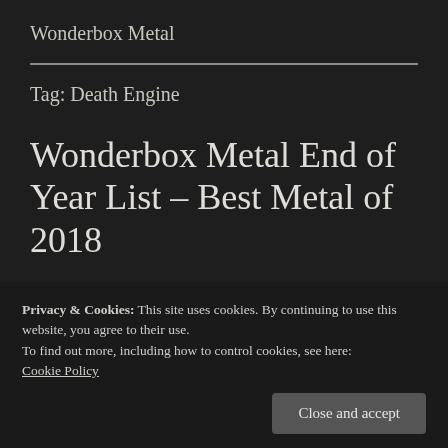Wonderbox Metal
Tag: Death Engine
Wonderbox Metal End of Year List – Best Metal of 2018
Privacy & Cookies: This site uses cookies. By continuing to use this website, you agree to their use.
To find out more, including how to control cookies, see here:
Cookie Policy